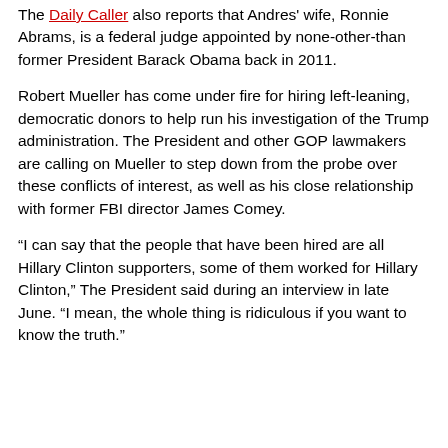The Daily Caller also reports that Andres' wife, Ronnie Abrams, is a federal judge appointed by none-other-than former President Barack Obama back in 2011.
Robert Mueller has come under fire for hiring left-leaning, democratic donors to help run his investigation of the Trump administration. The President and other GOP lawmakers are calling on Mueller to step down from the probe over these conflicts of interest, as well as his close relationship with former FBI director James Comey.
“I can say that the people that have been hired are all Hillary Clinton supporters, some of them worked for Hillary Clinton,” The President said during an interview in late June. “I mean, the whole thing is ridiculous if you want to know the truth.”